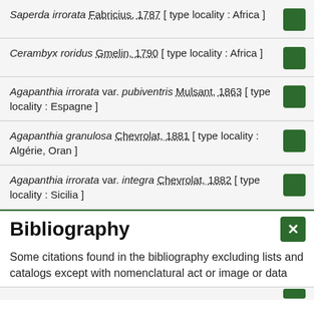Saperda irrorata Fabricius, 1787 [ type locality : Africa ]
Cerambyx roridus Gmelin, 1790 [ type locality : Africa ]
Agapanthia irrorata var. pubiventris Mulsant, 1863 [ type locality : Espagne ]
Agapanthia granulosa Chevrolat, 1881 [ type locality : Algérie, Oran ]
Agapanthia irrorata var. integra Chevrolat, 1882 [ type locality : Sicilia ]
Bibliography
Some citations found in the bibliography excluding lists and catalogs except with nomenclatural act or image or data